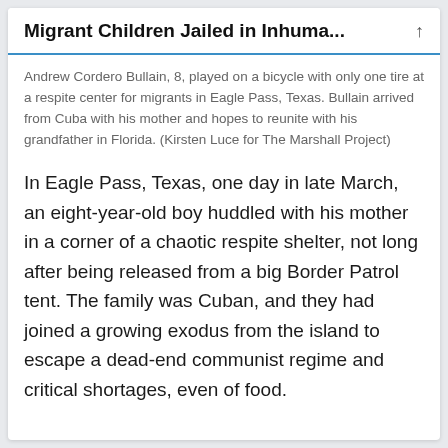Migrant Children Jailed in Inhuma...
Andrew Cordero Bullain, 8, played on a bicycle with only one tire at a respite center for migrants in Eagle Pass, Texas. Bullain arrived from Cuba with his mother and hopes to reunite with his grandfather in Florida. (Kirsten Luce for The Marshall Project)
In Eagle Pass, Texas, one day in late March, an eight-year-old boy huddled with his mother in a corner of a chaotic respite shelter, not long after being released from a big Border Patrol tent. The family was Cuban, and they had joined a growing exodus from the island to escape a dead-end communist regime and critical shortages, even of food.